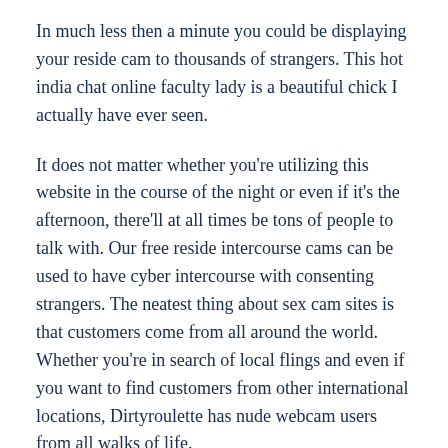In much less then a minute you could be displaying your reside cam to thousands of strangers. This hot india chat online faculty lady is a beautiful chick I actually have ever seen.
It does not matter whether you're utilizing this website in the course of the night or even if it's the afternoon, there'll at all times be tons of people to talk with. Our free reside intercourse cams can be used to have cyber intercourse with consenting strangers. The neatest thing about sex cam sites is that customers come from all around the world. Whether you're in search of local flings and even if you want to find customers from other international locations, Dirtyroulette has nude webcam users from all walks of life.
Unlike Arousr, WellHello is a peer-to-peer courting site,